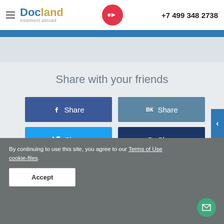Docland treatment abroad | +7 499 348 2738
Share with your friends
[Figure (screenshot): Social share buttons grid: Facebook Share, VK Share, Twitter Share, @ (email) Share, OK Share, G+ Share]
By continuing to use this site, you agree to our Terms of Use cookie-files.
Accept